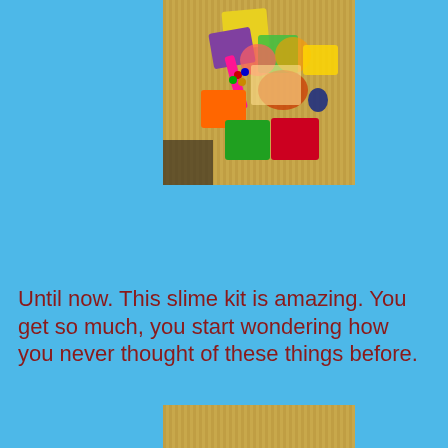[Figure (photo): A photograph showing various colorful slime kit supplies including packets of colored powder/glitter in yellow, purple, orange, green, red, and pink, along with beads, glitter, and other craft materials scattered on a wooden surface.]
Until now. This slime kit is amazing. You get so much, you start wondering how you never thought of these things before.
[Figure (photo): Partial photograph showing the top portion of another image with a wooden surface background, cropped at the bottom of the page.]